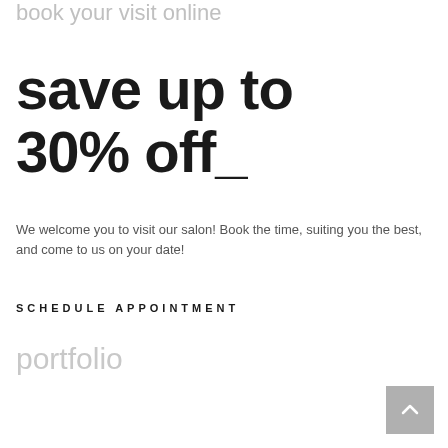book your visit online
save up to 30% off_
We welcome you to visit our salon! Book the time, suiting you the best, and come to us on your date!
SCHEDULE APPOINTMENT
portfolio